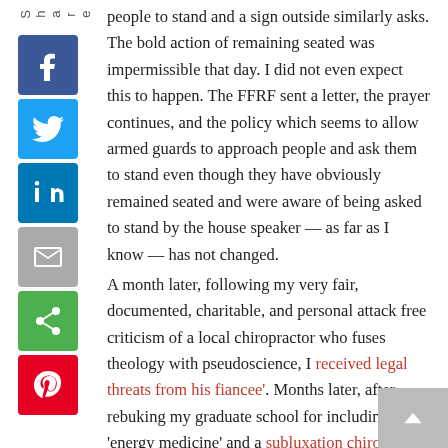people to stand and a sign outside similarly asks. The bold action of remaining seated was impermissible that day. I did not even expect this to happen. The FFRF sent a letter, the prayer continues, and the policy which seems to allow armed guards to approach people and ask them to stand even though they have obviously remained seated and were aware of being asked to stand by the house speaker — as far as I know — has not changed.

A month later, following my very fair, documented, charitable, and personal attack free criticism of a local chiropractor who fuses theology with pseudoscience, I received legal threats from his fiancee'. Months later, after rebuking my graduate school for including 'energy medicine' and a subluxation chiropractor in student health fairs, I drew the ire of students whom I had classes with. Following that, my efforts to start a Secular Student Alliance group in an attempt to, among other things, meet with fellow like-minded students were squelched. Students — most prominently officers and members of the LGBT group on campus — who previously welcomed me with open arms